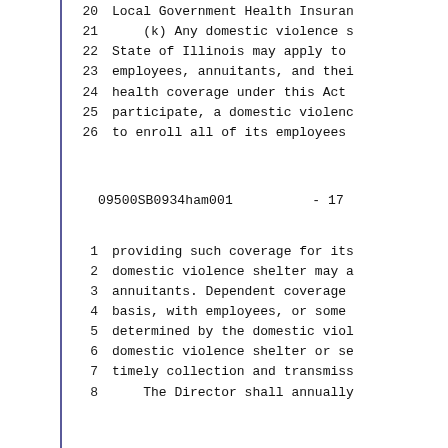20   Local Government Health Insuran
21       (k) Any domestic violence s
22   State of Illinois may apply to
23   employees, annuitants, and thei
24   health coverage under this Act
25   participate, a domestic violenc
26   to enroll all of its employees
09500SB0934ham001          - 17
1    providing such coverage for its
2    domestic violence shelter may a
3    annuitants. Dependent coverage
4    basis, with employees, or some
5    determined by the domestic viol
6    domestic violence shelter or se
7    timely collection and transmiss
8        The Director shall annually